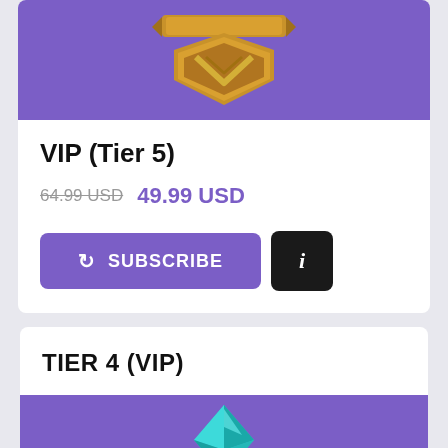[Figure (illustration): Purple banner with gold VIP tier 5 shield/badge icon at top]
VIP (Tier 5)
64.99 USD  49.99 USD
[Figure (illustration): Subscribe button with refresh icon and info button]
TIER 4 (VIP)
[Figure (illustration): Purple banner with teal gem and gold wings icon]